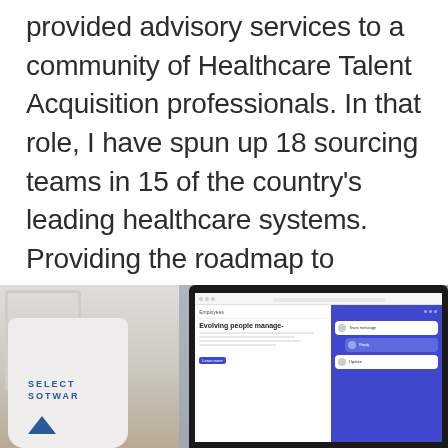provided advisory services to a community of Healthcare Talent Acquisition professionals. In that role, I have spun up 18 sourcing teams in 15 of the country's leading healthcare systems. Providing the roadmap to process, workflows, metrics (with a Sourcer Scorecard), training on sourcing techniques and even participating in the interviewing and hiring of staff.
[Figure (photo): Photo of a laptop showing a software interface (appears to be an HR/people management platform) next to a white mug with 'SELECT SOFTWARE' branding, placed on a wooden desk with a light background.]